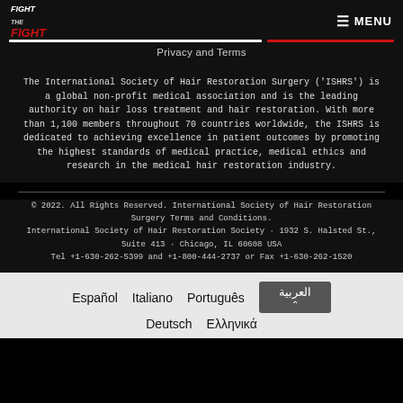Fight the FIGHT  MENU
Privacy and Terms
The International Society of Hair Restoration Surgery ('ISHRS') is a global non-profit medical association and is the leading authority on hair loss treatment and hair restoration. With more than 1,100 members throughout 70 countries worldwide, the ISHRS is dedicated to achieving excellence in patient outcomes by promoting the highest standards of medical practice, medical ethics and research in the medical hair restoration industry.
© 2022. All Rights Reserved. International Society of Hair Restoration Surgery Terms and Conditions. International Society of Hair Restoration Society · 1932 S. Halsted St., Suite 413 · Chicago, IL 60608 USA Tel +1-630-262-5399 and +1-800-444-2737 or Fax +1-630-262-1520
Español  Italiano  Português  العربية  Deutsch  Ελληνικά